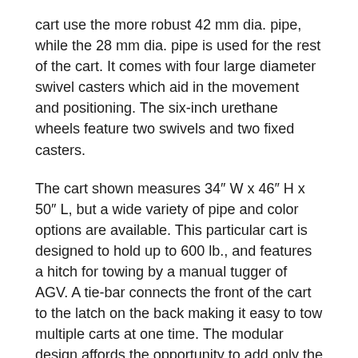cart use the more robust 42 mm dia. pipe, while the 28 mm dia. pipe is used for the rest of the cart. It comes with four large diameter swivel casters which aid in the movement and positioning. The six-inch urethane wheels feature two swivels and two fixed casters.
The cart shown measures 34″ W x 46″ H x 50″ L, but a wide variety of pipe and color options are available. This particular cart is designed to hold up to 600 lb., and features a hitch for towing by a manual tugger of AGV. A tie-bar connects the front of the cart to the latch on the back making it easy to tow multiple carts at one time. The modular design affords the opportunity to add only the accessories that you want. Accessories include label holders, clip board hangers or tool holders to name a few.
The Creform System is used to create an array of material